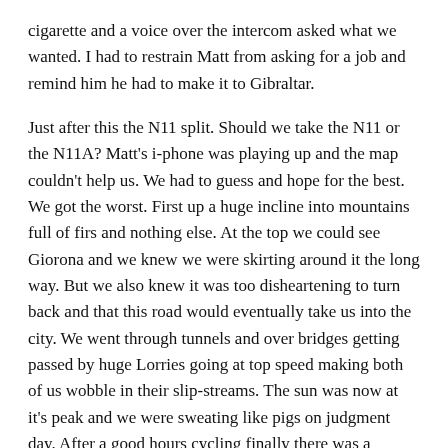cigarette and a voice over the intercom asked what we wanted. I had to restrain Matt from asking for a job and remind him he had to make it to Gibraltar.
Just after this the N11 split. Should we take the N11 or the N11A? Matt's i-phone was playing up and the map couldn't help us. We had to guess and hope for the best. We got the worst. First up a huge incline into mountains full of firs and nothing else. At the top we could see Giorona and we knew we were skirting around it the long way. But we also knew it was too disheartening to turn back and that this road would eventually take us into the city. We went through tunnels and over bridges getting passed by huge Lorries going at top speed making both of us wobble in their slip-streams. The sun was now at it's peak and we were sweating like pigs on judgment day. After a good hours cycling finally there was a turning. It appeared all of Giorona was just outskirts. We needed a break and stopped at a nondescript roundabout. Matt spotted a nice looking wooden box lying on the ground and on inspection found that it was full of home grown Marijuana. Mostly leaves but "Cheers Naytch!"
Giorona was a let down. It was Sunday and nothing was open. We